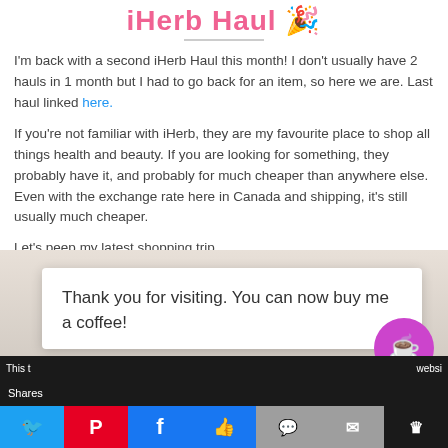iHerb Haul 🎉
I'm back with a second iHerb Haul this month! I don't usually have 2 hauls in 1 month but I had to go back for an item, so here we are. Last haul linked here.
If you're not familiar with iHerb, they are my favourite place to shop all things health and beauty. If you are looking for something, they probably have it, and probably for much cheaper than anywhere else. Even with the exchange rate here in Canada and shipping, it's still usually much cheaper.
Let's peep my latest shopping trip..
[Figure (screenshot): Screenshot of a modal overlay on a webpage saying 'Thank you for visiting. You can now buy me a coffee!' with a purple coffee button, and black bars at top and bottom showing partial page content.]
Shares | Twitter | Pinterest | Facebook | Like | SMS | Email | Crown